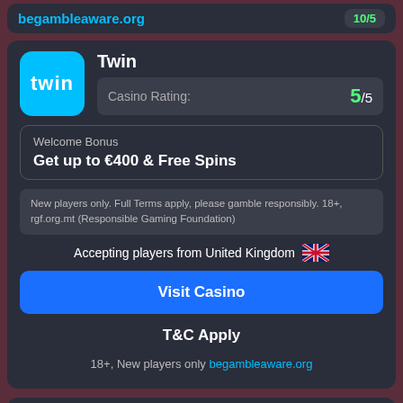begambleaware.org
Twin
Casino Rating: 5/5
Welcome Bonus
Get up to €400 & Free Spins
New players only. Full Terms apply, please gamble responsibly. 18+, rgf.org.mt (Responsible Gaming Foundation)
Accepting players from United Kingdom
Visit Casino
T&C Apply
18+, New players only begambleaware.org
Casumo